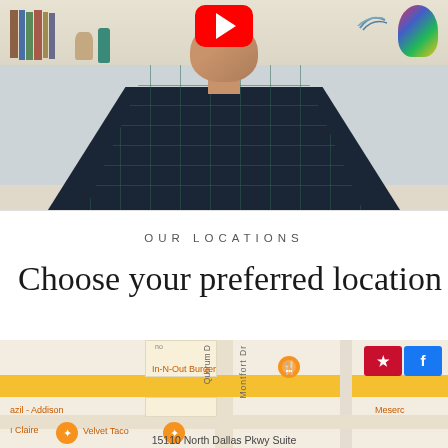[Figure (screenshot): YouTube video thumbnail showing a man in a dark plaid shirt sitting in front of a bookshelf. A red YouTube play button is visible at the top center. Decorative items visible on the right side.]
OUR LOCATIONS
Choose your preferred location
[Figure (map): Google Maps screenshot showing area near 15110 North Dallas Pkwy Suite, with landmarks including In-N-Out Burger, Velvet Taco, and street labels for Quorum Dr and Montfort Dr. Yelp and Facebook buttons visible in top right corner.]